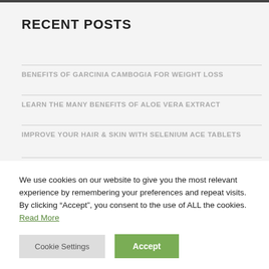RECENT POSTS
BENEFITS OF GARCINIA CAMBOGIA FOR WEIGHT LOSS
LEARN THE MANY BENEFITS OF ALOE VERA EXTRACT
IMPROVE YOUR HAIR & SKIN WITH SELENIUM ACE TABLETS
We use cookies on our website to give you the most relevant experience by remembering your preferences and repeat visits. By clicking “Accept”, you consent to the use of ALL the cookies. Read More
Cookie Settings | Accept